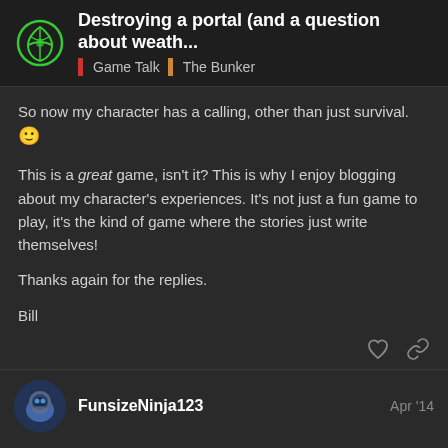Destroying a portal (and a question about weath... | Game Talk | The Bunker
So now my character has a calling, other than just survival. 🙂
This is a great game, isn't it? This is why I enjoy blogging about my character's experiences. It's not just a fun game to play, it's the kind of game where the stories just write themselves!
Thanks again for the replies.
Bill
FunsizeNinja123  Apr '14
You can't destroy portals. You're reading too much into things, Bill.